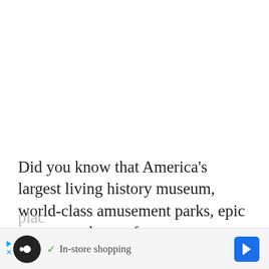Did you know that America's largest living history museum, world-class amusement parks, epic resorts, and waterfront towns are all located in one place? Williamsburg and its immediate surrounding cities are worthy of a plac...
[Figure (infographic): Ad bar at the bottom showing a circular black icon with infinity symbol and play/close controls, a checkmark with 'In-store shopping' text, and a blue diamond-shaped arrow navigation icon.]